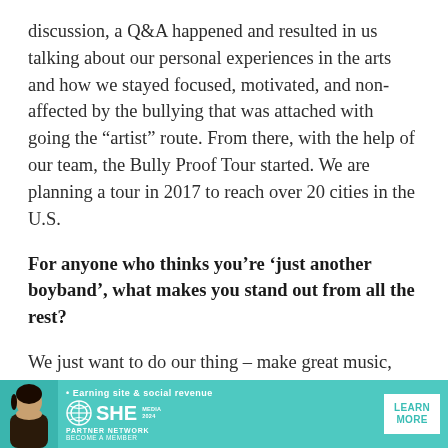discussion, a Q&A happened and resulted in us talking about our personal experiences in the arts and how we stayed focused, motivated, and non-affected by the bullying that was attached with going the “artist” route. From there, with the help of our team, the Bully Proof Tour started. We are planning a tour in 2017 to reach over 20 cities in the U.S.
For anyone who thinks you’re ‘just another boyband’, what makes you stand out from all the rest?
We just want to do our thing – make great music, tour and enjoy the ride. We get compared all th…
[Figure (infographic): Advertisement banner for SHE Media Partner Network. Features a woman photo on left, tagline 'Earning site & social revenue', SHE logo in circle, 'PARTNER NETWORK', 'BECOME A MEMBER', and a 'LEARN MORE' button on right. Teal/mint green background.]